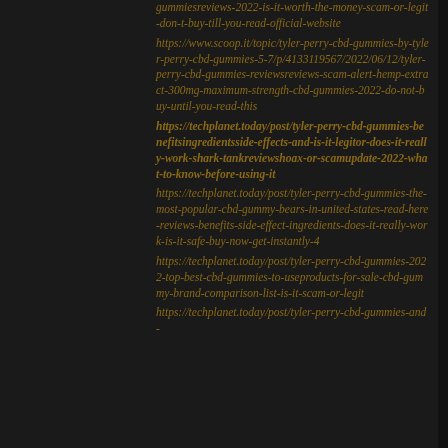gummiesreviews-2022-is-it-worth-the-money-scam-or-legit-don-t-buy-till-you-read-official-website https://www.scoop.it/topic/tyler-perry-cbd-gummies-by-tyler-perry-cbd-gummies-5-7/p/4133119567/2022/06/12/tyler-perry-cbd-gummies-reviewsreviews-scam-alert-hemp-extract-300mg-maximum-strength-cbd-gummies-2022-do-not-buy-until-you-read-this https://techplanet.today/post/tyler-perry-cbd-gummies-benefitsingredientsside-effects-and-is-it-legitor-does-it-really-work-shark-tankreviewshoax-or-scamupdate-2022-what-to-know-before-using-it https://techplanet.today/post/tyler-perry-cbd-gummies-the-most-popular-cbd-gummy-bears-in-united-states-read-here-reviews-benefits-side-effect-ingredients-does-it-really-work-is-it-safe-buy-now-get-instantly-4 https://techplanet.today/post/tyler-perry-cbd-gummies-2022-top-best-cbd-gummies-to-useproducts-for-sale-cbd-gummy-brand-comparison-list-is-it-scam-or-legit https://techplanet.today/post/tyler-perry-cbd-gummies-and-...